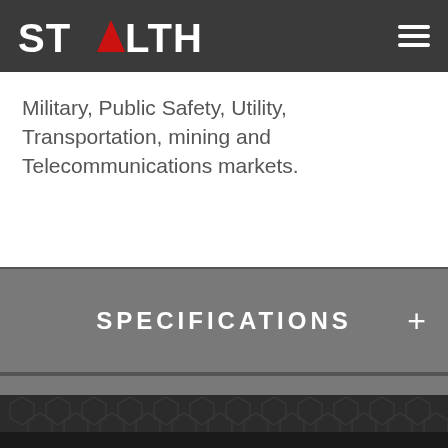STEALTH
Military, Public Safety, Utility, Transportation, mining and Telecommunications markets.
SPECIFICATIONS
DOWNLOADS